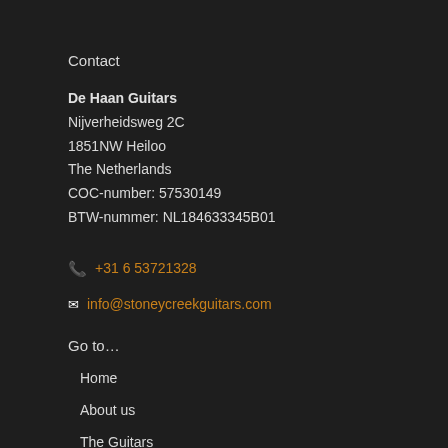Contact
De Haan Guitars
Nijverheidsweg 2C
1851NW Heiloo
The Netherlands
COC-number: 57530149
BTW-nummer: NL184633345B01
📞 +31 6 53721328
✉ info@stoneycreekguitars.com
Go to…
Home
About us
The Guitars